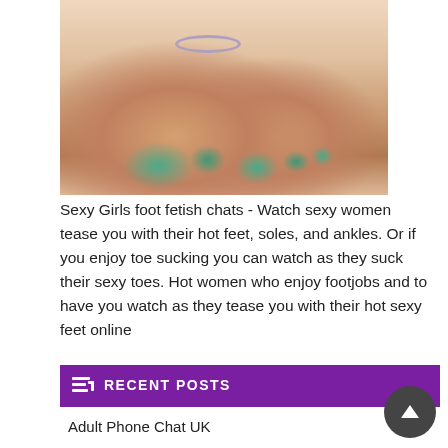[Figure (photo): Close-up photo of two bare feet with teal/green painted toenails, with an anklet on the left ankle, shot from low angle on a light floor]
Sexy Girls foot fetish chats - Watch sexy women tease you with their hot feet, soles, and ankles. Or if you enjoy toe sucking you can watch as they suck their sexy toes. Hot women who enjoy footjobs and to have you watch as they tease you with their hot sexy feet online
RECENT POSTS
Adult Phone Chat UK